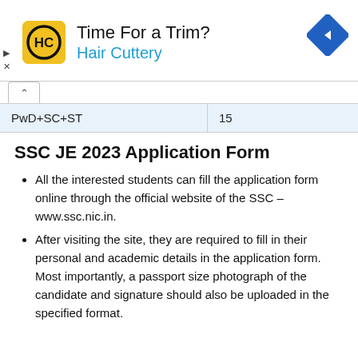[Figure (advertisement): Hair Cuttery advertisement banner with logo, 'Time For a Trim?' heading, and navigation arrow icon]
| PwD+SC+ST | 15 |
SSC JE 2023 Application Form
All the interested students can fill the application form online through the official website of the SSC – www.ssc.nic.in.
After visiting the site, they are required to fill in their personal and academic details in the application form. Most importantly, a passport size photograph of the candidate and signature should also be uploaded in the specified format.